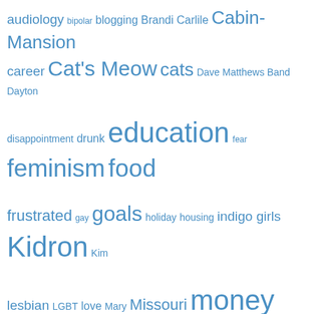[Figure (other): Tag cloud with words of varying sizes in blue, representing blog/personal topics. Larger words appear more frequently. Words include: audiology, bipolar, blogging, Brandi Carlile, Cabin-Mansion, career, Cat's Meow, cats, Dave Matthews Band, Dayton, disappointment, drunk, education, fear, feminism, food, frustrated, gay, goals, holiday, housing, indigo girls, Kidron, Kim, lesbian, LGBT, love, Mary, Missouri, money, motivation, moving, music, Nevada, Noah's Ark, parents, pet-peeves, plan, politics, ranking, review, road-trip, running, sad, schedule, Seattle, shopping, sleeping, song, songs, speech & hearing sciences, sports, stress, student, study, Taylor Swift, test, tired, unfair, university, University of Missouri, veterinary, Washington, weight, women, work]